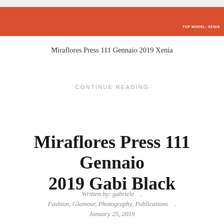[Figure (photo): Cropped photo showing a red/orange fabric or clothing item with a small white strip at the top. Label 'TOP MODEL: XENIA' appears in white text at lower right.]
Miraflores Press 111 Gennaio 2019 Xenia
CONTINUE READING
Miraflores Press 111 Gennaio 2019 Gabi Black
Written by: gabriele .
Fashion, Glamour, Photography, Publications .
January 25, 2019